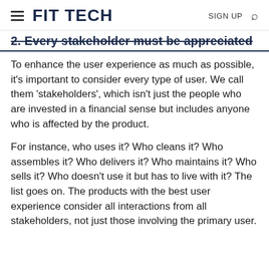FIT TECH | SIGN UP
2. Every stakeholder must be appreciated
To enhance the user experience as much as possible, it's important to consider every type of user. We call them 'stakeholders', which isn't just the people who are invested in a financial sense but includes anyone who is affected by the product.
For instance, who uses it? Who cleans it? Who assembles it? Who delivers it? Who maintains it? Who sells it? Who doesn't use it but has to live with it? The list goes on. The products with the best user experience consider all interactions from all stakeholders, not just those involving the primary user.